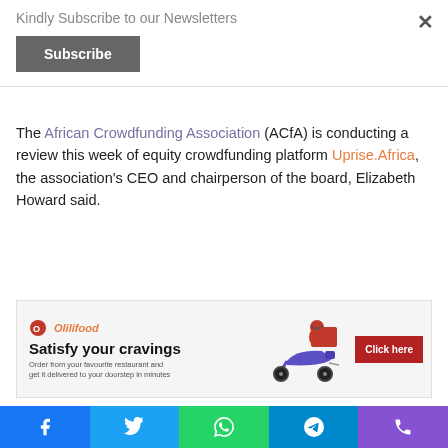Kindly Subscribe to our Newsletters
Subscribe
The African Crowdfunding Association (ACfA) is conducting a review this week of equity crowdfunding platform Uprise.Africa, the association's CEO and chairperson of the board, Elizabeth Howard said.
[Figure (infographic): Olilifood advertisement banner: 'Satisfy your cravings - Order from your favourite restaurant and get it delivered to your doorstep in minutes' with a scooter delivery illustration and 'Click here' button]
The association, which is a non-profit organisation that receives grant funding from FSD Africa, represents African crowdfunding platforms and intermediaries.
Facebook | Twitter | WhatsApp | Telegram | Phone